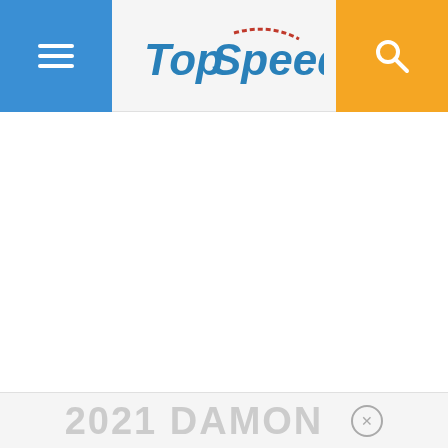TopSpeed — navigation header with menu and search buttons
[Figure (screenshot): White blank content area (advertisement or image placeholder)]
2021 DAMON